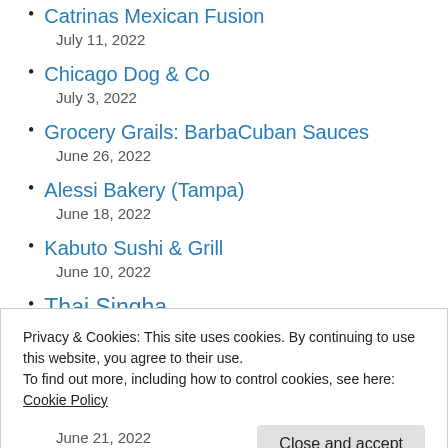Catrinas Mexican Fusion
July 11, 2022
Chicago Dog & Co
July 3, 2022
Grocery Grails: BarbaCuban Sauces
June 26, 2022
Alessi Bakery (Tampa)
June 18, 2022
Kabuto Sushi & Grill
June 10, 2022
Thai Singha
Privacy & Cookies: This site uses cookies. By continuing to use this website, you agree to their use.
To find out more, including how to control cookies, see here:
Cookie Policy
Close and accept
June 21, 2022